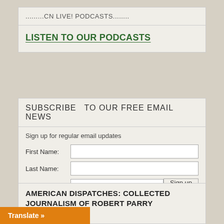.........CN LIVE! PODCASTS........
LISTEN TO OUR PODCASTS
SUBSCRIBE  TO OUR FREE EMAIL NEWS
Sign up for regular email updates
First Name:
Last Name:
Email:
Sign up
AMERICAN DISPATCHES: COLLECTED JOURNALISM OF ROBERT PARRY
Translate »